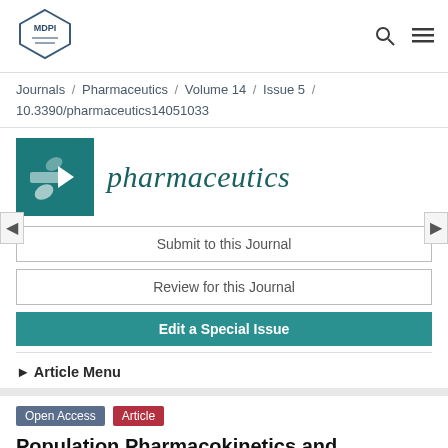MDPI
Journals / Pharmaceutics / Volume 14 / Issue 5 / 10.3390/pharmaceutics14051033
[Figure (logo): Pharmaceutics journal logo with teal icon and italic title]
Submit to this Journal
Review for this Journal
Edit a Special Issue
► Article Menu
Open Access  Article
Population Pharmacokinetics and